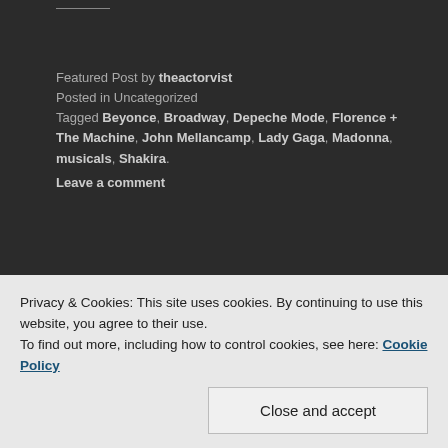Featured Post by theactorvist
Posted in Uncategorized
Tagged Beyonce, Broadway, Depeche Mode, Florence + The Machine, John Mellancamp, Lady Gaga, Madonna, musicals, Shakira.
Leave a comment
INSTA-VISTA
[Figure (photo): Three Instagram-style photos: a sky with clouds, bottles on a table, and a BBMAK album cover]
Privacy & Cookies: This site uses cookies. By continuing to use this website, you agree to their use.
To find out more, including how to control cookies, see here: Cookie Policy
Close and accept